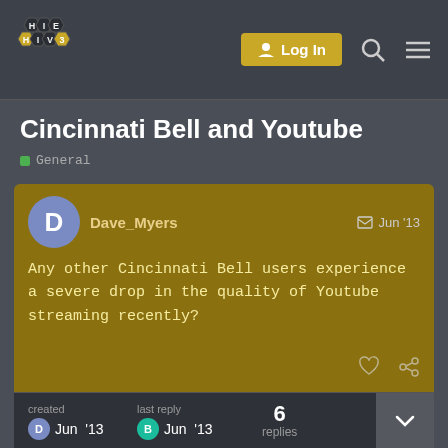Hive — Log In
Cincinnati Bell and Youtube
General
Dave_Myers — Jun '13
Any other Cincinnati Bell users experience a severe drop in the quality of Youtube streaming recently?
created D Jun '13  last reply B Jun '13  6 replies
Marcus_Porter  1 / 7